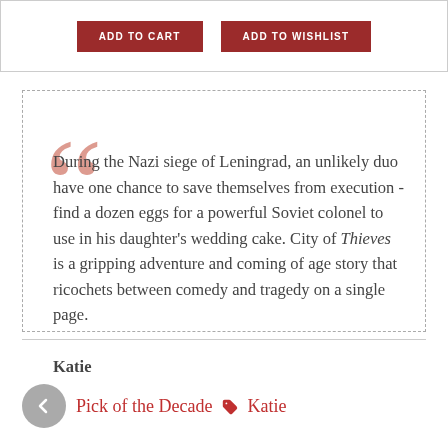[Figure (other): Two red buttons: ADD TO CART and ADD TO WISHLIST]
During the Nazi siege of Leningrad, an unlikely duo have one chance to save themselves from execution - find a dozen eggs for a powerful Soviet colonel to use in his daughter's wedding cake. City of Thieves is a gripping adventure and coming of age story that ricochets between comedy and tragedy on a single page.

Katie
Pick of the Decade   Katie